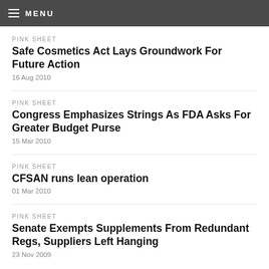MENU
PINK SHEET
Safe Cosmetics Act Lays Groundwork For Future Action
16 Aug 2010
PINK SHEET
Congress Emphasizes Strings As FDA Asks For Greater Budget Purse
15 Mar 2010
PINK SHEET
CFSAN runs lean operation
01 Mar 2010
PINK SHEET
Senate Exempts Supplements From Redundant Regs, Suppliers Left Hanging
23 Nov 2009